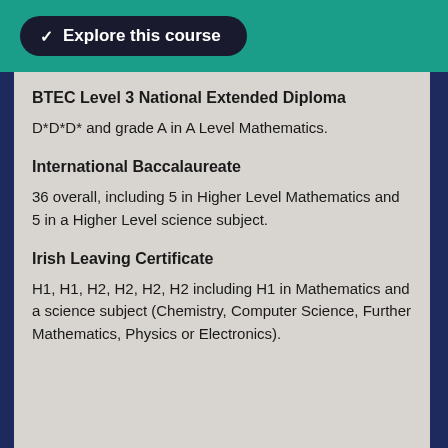Explore this course
BTEC Level 3 National Extended Diploma
D*D*D* and grade A in A Level Mathematics.
International Baccalaureate
36 overall, including 5 in Higher Level Mathematics and 5 in a Higher Level science subject.
Irish Leaving Certificate
H1, H1, H2, H2, H2, H2 including H1 in Mathematics and a science subject (Chemistry, Computer Science, Further Mathematics, Physics or Electronics).